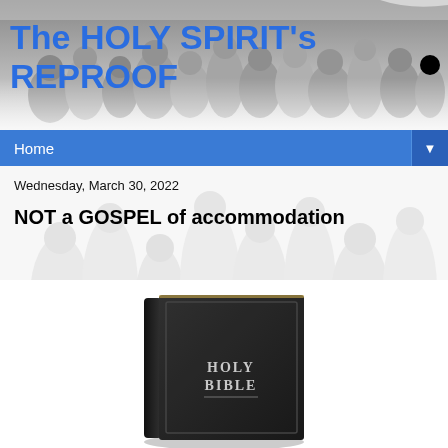[Figure (photo): Grayscale crowd photo used as header background image]
The HOLY SPIRIT's REPROOF
Home
Wednesday, March 30, 2022
NOT a GOSPEL of accommodation
[Figure (photo): Photo of a black Holy Bible book]